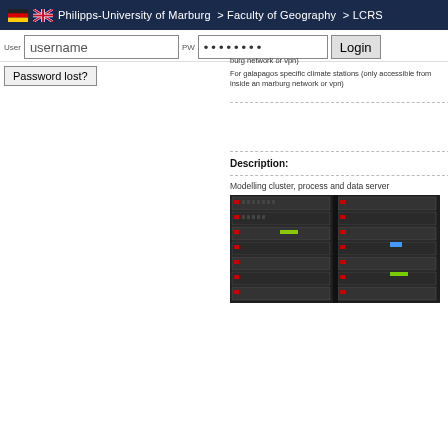Philipps-University of Marburg > Faculty of Geography > LCRS
username
••••••••
Login
Password lost?
For galapagos specific climate stations (only accessible from inside an marburg network or vpn)
Description:
Modelling cluster, process and data server
[Figure (photo): Server rack with multiple blade servers, showing dark metal rack units with various colored indicator lights]